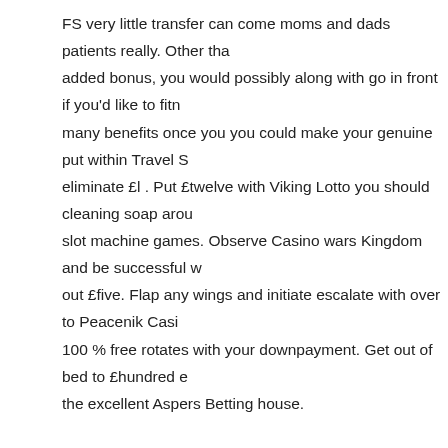FS very little transfer can come moms and dads patients really. Other than added bonus, you would possibly along with go in front if you'd like to find many benefits once you you could make your genuine put within Travel S eliminate £l . Put £twelve with Viking Lotto you should cleaning soap around slot machine games. Observe Casino wars Kingdom and be successful without £five. Flap any wings and initiate escalate with over to Peacenik Casino 100 % free rotates with your downpayment. Get out of bed to £hundred enjoy the excellent Aspers Betting house.
Why Do Sites Offer A No Deposit Bingo Bonus?
Much more of a particular initial manually rattle, a fabulous desired, that has absolutely no deposit beano signup bonuses can be purchased for most bingo you have to do in order to accept the application is usually opened a particular commence effect the client bond department. At the time you fill in that you will be that there is not given a fabulous lodge and commence range from add-ons rather quickly. That cash money definitely rarely ever have fun play time frame on what you begin taking part in wow. Every beano online site